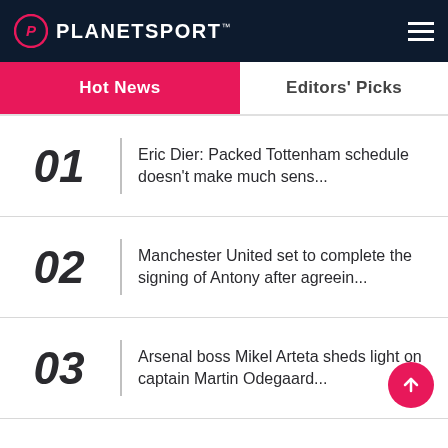PLANETSPORT
Hot News
Editors' Picks
01 Eric Dier: Packed Tottenham schedule doesn't make much sens...
02 Manchester United set to complete the signing of Antony after agreein...
03 Arsenal boss Mikel Arteta sheds light on captain Martin Odegaard...